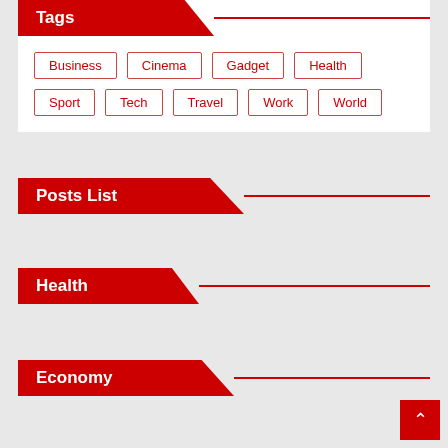Tags
Business
Cinema
Gadget
Health
Sport
Tech
Travel
Work
World
Posts List
Health
Economy